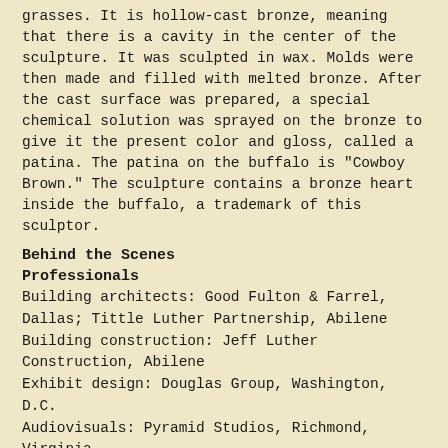grasses. It is hollow-cast bronze, meaning that there is a cavity in the center of the sculpture. It was sculpted in wax. Molds were then made and filled with melted bronze. After the cast surface was prepared, a special chemical solution was sprayed on the bronze to give it the present color and gloss, called a patina. The patina on the buffalo is "Cowboy Brown." The sculpture contains a bronze heart inside the buffalo, a trademark of this sculptor.
Behind the Scenes
Professionals
Building architects: Good Fulton & Farrel, Dallas; Tittle Luther Partnership, Abilene
Building construction: Jeff Luther Construction, Abilene
Exhibit design: Douglas Group, Washington, D.C.
Audiovisuals: Pyramid Studios, Richmond, Virginia
Exhibit fabrication: Exhibit Concepts, Dayton, Ohio
Audio-visual Installation: Whitlock Group, Dallas
Landscape design: Chris Miller, Dallas
Historians
Four historians with different areas of expertise were involved in